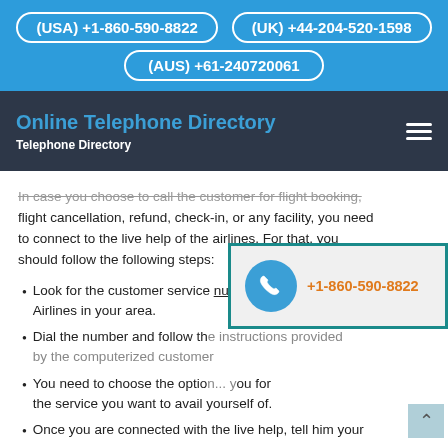(USA) +1-860-590-8822  (UK) +44-204-520-1598  (AUS) +61-240720061
Online Telephone Directory | Telephone Directory
In case you choose to call the customer for flight booking, flight cancellation, refund, check-in, or any facility, you need to connect to the live help of the airlines. For that, you should follow the following steps:
Look for the customer service number of Turkish Airlines in your area.
Dial the number and follow the instructions provided by the computerized customer...
You need to choose the option... the service you want to avail yourself of.
Once you are connected with the live help, tell him your
[Figure (infographic): Floating phone widget with blue circle phone icon and orange phone number +1-860-590-8822 on grey background with teal border]